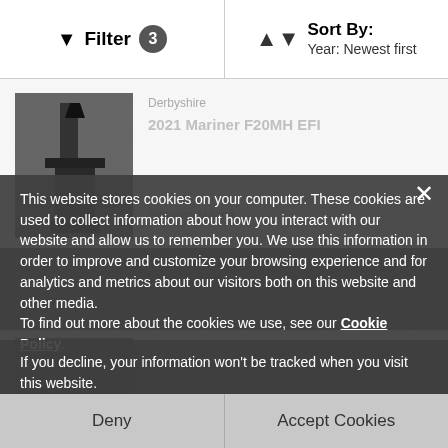Filter 3   Sort By: Year: Newest first
[Figure (screenshot): Background product listing page showing outboard motors with location 'Derbyshire' and dealer 'Simpson Marine', partially obscured by a cookie consent dialog. Two listings visible: '2021 Mariner F20MH EFI' and '2021 Mariner F115 ELPT CT EFI'.]
This website stores cookies on your computer. These cookies are used to collect information about how you interact with our website and allow us to remember you. We use this information in order to improve and customize your browsing experience and for analytics and metrics about our visitors both on this website and other media. To find out more about the cookies we use, see our Cookie Policy.
If you decline, your information won't be tracked when you visit this website. A single cookie will be used in your browser to remember your preference not to be tracked.
Deny
Accept Cookies